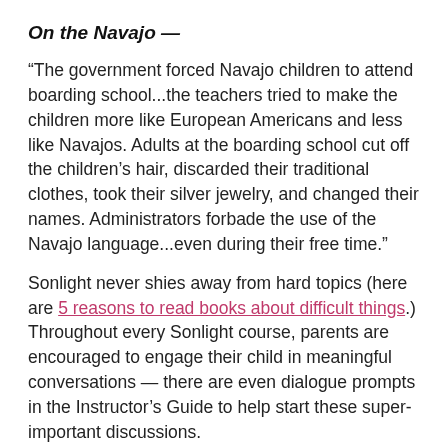On the Navajo —
“The government forced Navajo children to attend boarding school...the teachers tried to make the children more like European Americans and less like Navajos. Adults at the boarding school cut off the children’s hair, discarded their traditional clothes, took their silver jewelry, and changed their names. Administrators forbade the use of the Navajo language...even during their free time.”
Sonlight never shies away from hard topics (here are 5 reasons to read books about difficult things.) Throughout every Sonlight course, parents are encouraged to engage their child in meaningful conversations — there are even dialogue prompts in the Instructor’s Guide to help start these super-important discussions.